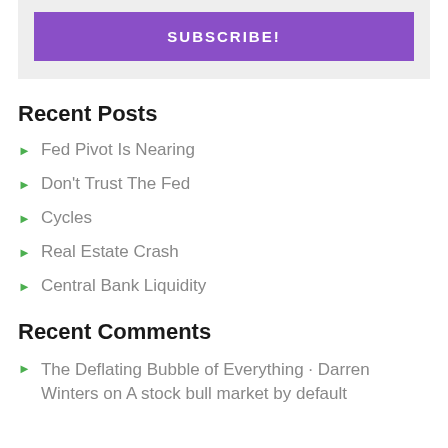[Figure (other): Subscribe button box with purple SUBSCRIBE! button on grey background]
Recent Posts
Fed Pivot Is Nearing
Don't Trust The Fed
Cycles
Real Estate Crash
Central Bank Liquidity
Recent Comments
The Deflating Bubble of Everything · Darren Winters on A stock bull market by default